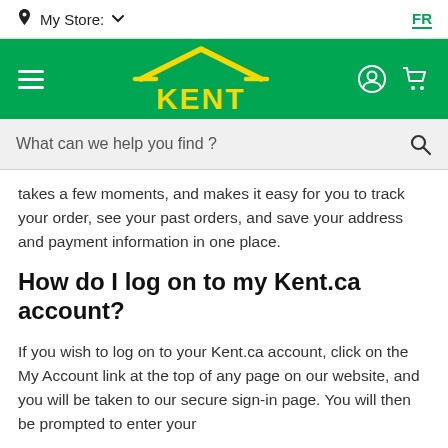My Store:   FR
[Figure (logo): Kent building supplies logo — yellow KENT text with roof outline on green background, with hamburger menu, user icon, and cart icon]
What can we help you find ?
takes a few moments, and makes it easy for you to track your order, see your past orders, and save your address and payment information in one place.
How do I log on to my Kent.ca account?
If you wish to log on to your Kent.ca account, click on the My Account link at the top of any page on our website, and you will be taken to our secure sign-in page. You will then be prompted to enter your